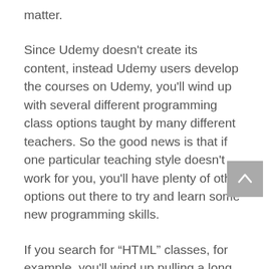matter.
Since Udemy doesn't create its content, instead Udemy users develop the courses on Udemy, you'll wind up with several different programming class options taught by many different teachers. So the good news is that if one particular teaching style doesn't work for you, you'll have plenty of other options out there to try and learn some new programming skills.
If you search for “HTML” classes, for example, you'll wind up pulling a long list of courses that cover this language. You'll also be able to see plenty of user reviews on the classes and preview classes before you enroll. So, you'll have